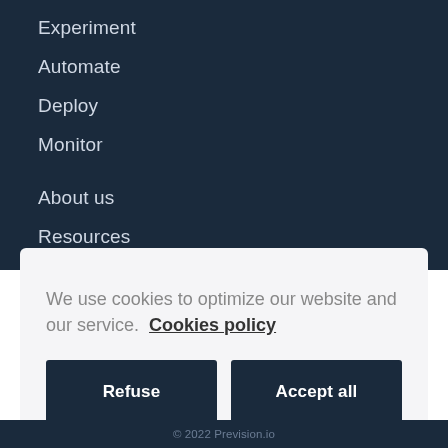Experiment
Automate
Deploy
Monitor
About us
Resources
Contact us
We're hiring!
We use cookies to optimize our website and our service.  Cookies policy
Refuse
Accept all
© 2022 Prevision.io